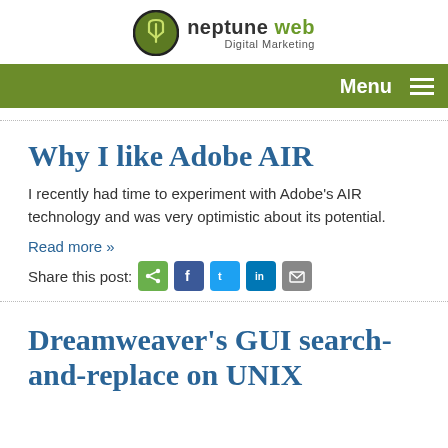[Figure (logo): Neptune Web Digital Marketing logo with green circle icon and brand name]
Menu ≡
Why I like Adobe AIR
I recently had time to experiment with Adobe's AIR technology and was very optimistic about its potential.
Read more »
Share this post:
Dreamweaver's GUI search-and-replace on UNIX